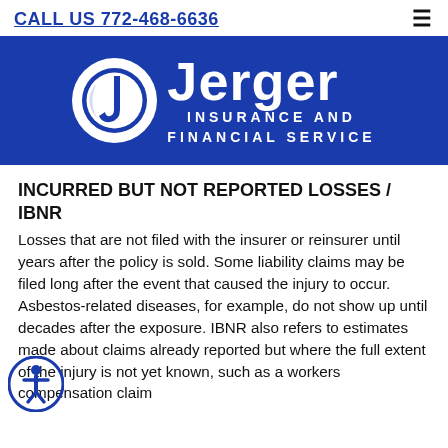CALL US 772-468-6636
[Figure (logo): Jerger Insurance and Financial Service logo — white circular J icon on blue background with company name in white text]
INCURRED BUT NOT REPORTED LOSSES / IBNR
Losses that are not filed with the insurer or reinsurer until years after the policy is sold. Some liability claims may be filed long after the event that caused the injury to occur. Asbestos-related diseases, for example, do not show up until decades after the exposure. IBNR also refers to estimates made about claims already reported but where the full extent of the injury is not yet known, such as a workers compensation claim